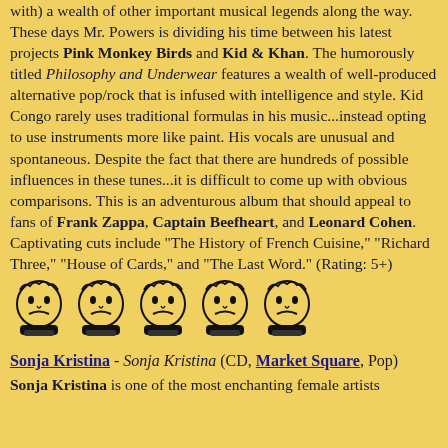with) a wealth of other important musical legends along the way. These days Mr. Powers is dividing his time between his latest projects Pink Monkey Birds and Kid & Khan. The humorously titled Philosophy and Underwear features a wealth of well-produced alternative pop/rock that is infused with intelligence and style. Kid Congo rarely uses traditional formulas in his music...instead opting to use instruments more like paint. His vocals are unusual and spontaneous. Despite the fact that there are hundreds of possible influences in these tunes...it is difficult to come up with obvious comparisons. This is an adventurous album that should appeal to fans of Frank Zappa, Captain Beefheart, and Leonard Cohen. Captivating cuts include "The History of French Cuisine," "Richard Three," "House of Cards," and "The Last Word." (Rating: 5+)
[Figure (illustration): Five cartoon face icons in a row, depicting a round face with hair and a base, rendered in black ink style]
Sonja Kristina - Sonja Kristina (CD, Market Square, Pop)
Sonja Kristina is one of the most enchanting female artists